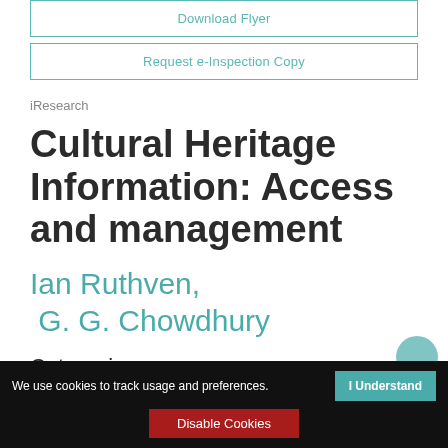Download Flyer
Request e-Inspection Copy
iResearch
Cultural Heritage Information: Access and management
Ian Ruthven,
 G. G. Chowdhury
Categories:
We use cookies to track usage and preferences.   I Understand
Disable Cookies